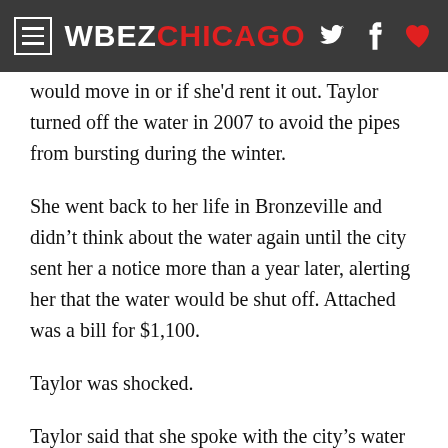WBEZ CHICAGO
would move in or if she'd rent it out. Taylor turned off the water in 2007 to avoid the pipes from bursting during the winter.
She went back to her life in Bronzeville and didn't think about the water again until the city sent her a notice more than a year later, alerting her that the water would be shut off. Attached was a bill for $1,100.
Taylor was shocked.
Taylor said that she spoke with the city's water